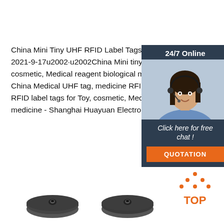China Mini Tiny UHF RFID Label Tags For Toy, Cosmetic, 2021-9-17u2002·u2002China Mini tiny UHF RFID label tags for cosmetic, Medical reagent biological medicine, Find China Medical UHF tag, medicine RFID TAG from Mini Tiny UHF RFID label tags for Toy, cosmetic, Medical reagent biological medicine - Shanghai Huayuan Electronic Co., Ltd.
[Figure (photo): Customer service representative - 24/7 Online chat widget with orange QUOTATION button]
[Figure (other): TOP button icon with orange dots forming an arrow/triangle above the word TOP]
[Figure (photo): Two black disc-shaped RFID tags/buttons viewed from above]